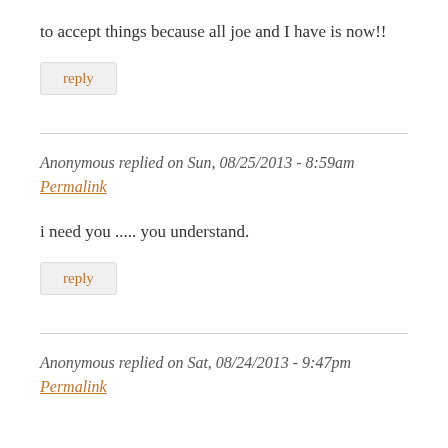to accept things because all joe and I have is now!!
reply
Anonymous replied on Sun, 08/25/2013 - 8:59am
Permalink
i need you ..... you understand.
reply
Anonymous replied on Sat, 08/24/2013 - 9:47pm
Permalink